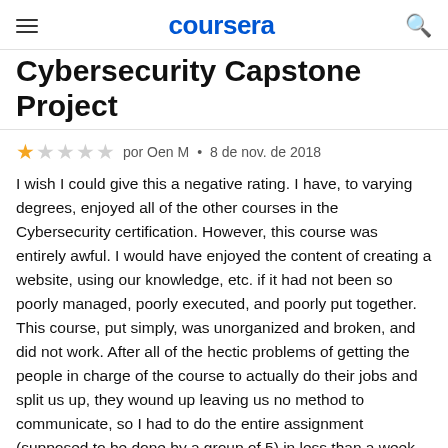coursera
Cybersecurity Capstone Project
★☆☆☆☆  por Oen M  •  8 de nov. de 2018
I wish I could give this a negative rating. I have, to varying degrees, enjoyed all of the other courses in the Cybersecurity certification. However, this course was entirely awful. I would have enjoyed the content of creating a website, using our knowledge, etc. if it had not been so poorly managed, poorly executed, and poorly put together. This course, put simply, was unorganized and broken, and did not work. After all of the hectic problems of getting the people in charge of the course to actually do their jobs and split us up, they wound up leaving us no method to communicate, so I had to do the entire assignment (supposed to be done by a group of 5) in less than a week (when we were supposed to get 2). The scheduling also did not make sense, as the course was supposed to run for 6 weeks but only lasted 5. Even aside